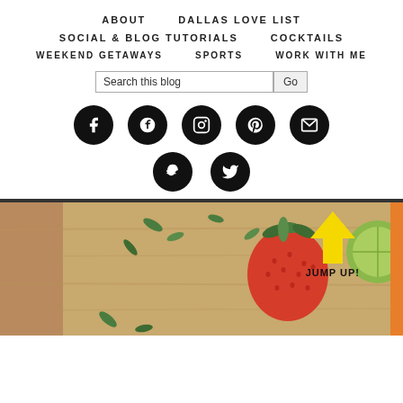ABOUT   DALLAS LOVE LIST
SOCIAL & BLOG TUTORIALS   COCKTAILS
WEEKEND GETAWAYS   SPORTS   WORK WITH ME
[Figure (screenshot): Blog navigation menu with social media icons (Facebook, Google+, Instagram, Pinterest, Email, Snapchat, Twitter) and a search bar, with a strawberry food photo below and a yellow JUMP UP arrow.]